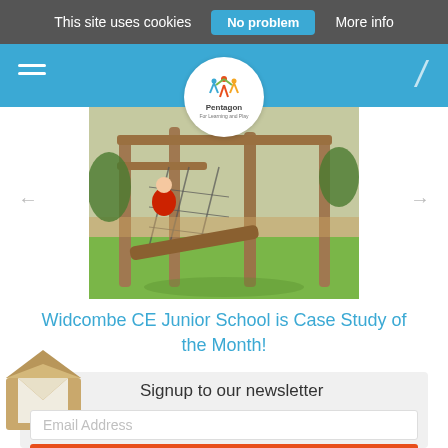This site uses cookies   No problem   More info
[Figure (logo): Pentagon For Learning and Play logo in a white circle on blue navigation bar]
[Figure (photo): Children playing on wooden log climbing frame/playground equipment with rope netting on a green artificial grass surface]
Widcombe CE Junior School is Case Study of the Month!
Signup to our newsletter
Email Address